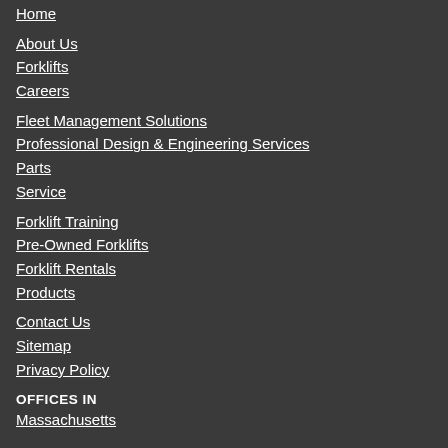Home
About Us
Forklifts
Careers
Fleet Management Solutions
Professional Design & Engineering Services
Parts
Service
Forklift Training
Pre-Owned Forklifts
Forklift Rentals
Products
Contact Us
Sitemap
Privacy Policy
OFFICES IN
Massachusetts